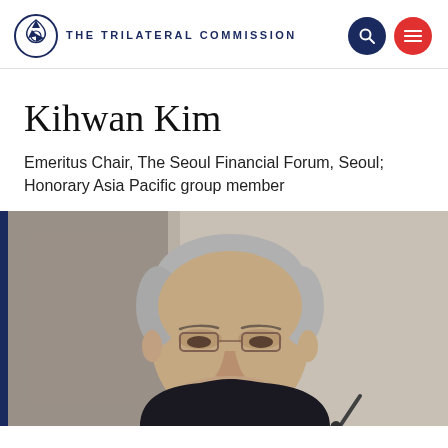THE TRILATERAL COMMISSION
Kihwan Kim
Emeritus Chair, The Seoul Financial Forum, Seoul; Honorary Asia Pacific group member
[Figure (photo): Portrait photo of Kihwan Kim, an elderly Asian man with grey hair and glasses, photographed from a low angle while speaking, wearing a dark suit with a light blue shirt, with a microphone visible in the lower right.]